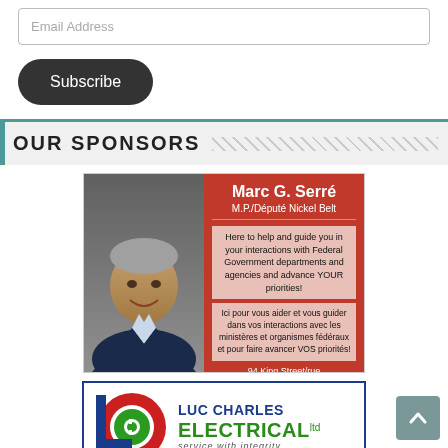Email Address
Subscribe
OUR SPONSORS
[Figure (photo): Advertisement for Marc G. Serré, M.P./Député Nickel Belt. Photo of a smiling man in a suit on the left, red panel on the right with name, title, bilingual description, and address: 94 King Street/rue, Unit/Bureau 1, Sturgeon Falls, Tel./Tél : (705) 580-2584]
[Figure (logo): Luc Charles Electrical Ltd. logo — blue and green text with circular red/green logo on left, tagline: service with integrity]